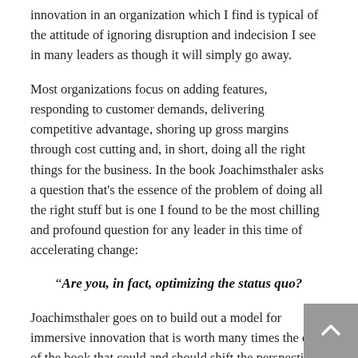innovation in an organization which I find is typical of the attitude of ignoring disruption and indecision I see in many leaders as though it will simply go away.
Most organizations focus on adding features, responding to customer demands, delivering competitive advantage, shoring up gross margins through cost cutting and, in short, doing all the right things for the business. In the book Joachimsthaler asks a question that's the essence of the problem of doing all the right stuff but is one I found to be the most chilling and profound question for any leader in this time of accelerating change:
“Are you, in fact, optimizing the status quo?
Joachimsthaler goes on to build out a model for immersive innovation that is worth many times the cost of the book that could and should shift the perspective of how to